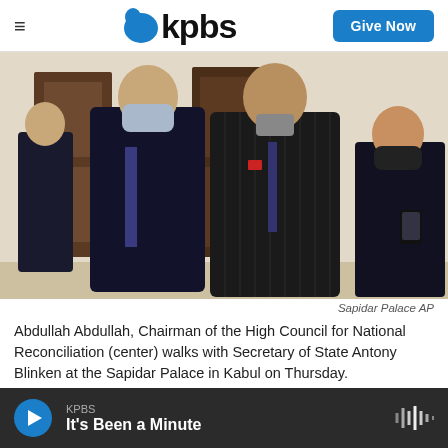KPBS — Give Now
[Figure (photo): Abdullah Abdullah, Chairman of the High Council for National Reconciliation, wearing a pinstriped suit and mask, walking alongside Secretary of State Antony Blinken and others at the Sapidar Palace in Kabul.]
Sapidar Palace AP
Abdullah Abdullah, Chairman of the High Council for National Reconciliation (center) walks with Secretary of State Antony Blinken at the Sapidar Palace in Kabul on Thursday.
KPBS — It's Been a Minute